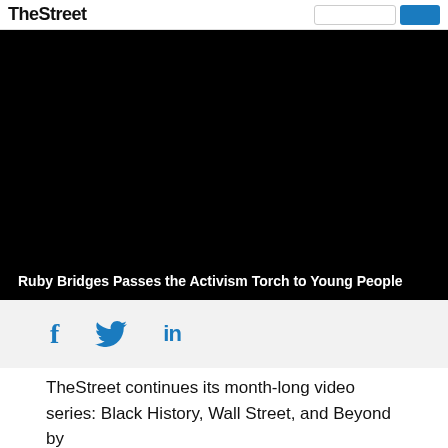TheStreet
[Figure (screenshot): Black video player background with title overlay: Ruby Bridges Passes the Activism Torch to Young People]
Ruby Bridges Passes the Activism Torch to Young People
[Figure (infographic): Social sharing icons: Facebook (f), Twitter (bird), LinkedIn (in)]
TheStreet continues its month-long video series: Black History, Wall Street, and Beyond by